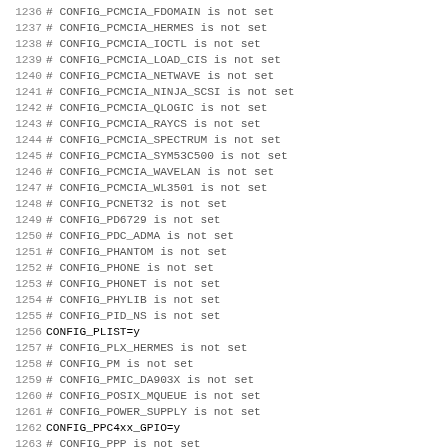1236 # CONFIG_PCMCIA_FDOMAIN is not set
1237 # CONFIG_PCMCIA_HERMES is not set
1238 # CONFIG_PCMCIA_IOCTL is not set
1239 # CONFIG_PCMCIA_LOAD_CIS is not set
1240 # CONFIG_PCMCIA_NETWAVE is not set
1241 # CONFIG_PCMCIA_NINJA_SCSI is not set
1242 # CONFIG_PCMCIA_QLOGIC is not set
1243 # CONFIG_PCMCIA_RAYCS is not set
1244 # CONFIG_PCMCIA_SPECTRUM is not set
1245 # CONFIG_PCMCIA_SYM53C500 is not set
1246 # CONFIG_PCMCIA_WAVELAN is not set
1247 # CONFIG_PCMCIA_WL3501 is not set
1248 # CONFIG_PCNET32 is not set
1249 # CONFIG_PD6729 is not set
1250 # CONFIG_PDC_ADMA is not set
1251 # CONFIG_PHANTOM is not set
1252 # CONFIG_PHONE is not set
1253 # CONFIG_PHONET is not set
1254 # CONFIG_PHYLIB is not set
1255 # CONFIG_PID_NS is not set
1256 CONFIG_PLIST=y
1257 # CONFIG_PLX_HERMES is not set
1258 # CONFIG_PM is not set
1259 # CONFIG_PMIC_DA903X is not set
1260 # CONFIG_POSIX_MQUEUE is not set
1261 # CONFIG_POWER_SUPPLY is not set
1262 CONFIG_PPC4xx_GPIO=y
1263 # CONFIG_PPP is not set
1264 # CONFIG_PPPOATM is not set
1265 # CONFIG_PPPOE is not set
1266 # CONFIG_PPPOL2TP is not set
1267 # CONFIG_PPP_ASYNC is not set
1268 # CONFIG_PPP_BSDCOMP is not set